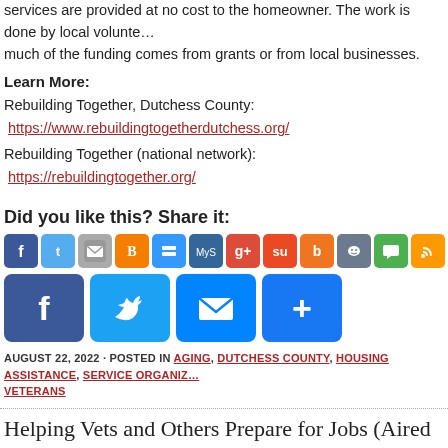services are provided at no cost to the homeowner. The work is done by local volunteers and much of the funding comes from grants or from local businesses.
Learn More:
Rebuilding Together, Dutchess County: https://www.rebuildingtogetherdutchess.org/
Rebuilding Together (national network): https://rebuildingtogether.org/
Did you like this? Share it:
[Figure (other): Row of small social media share icons including Facebook, Twitter, Email, Blogger, Delicious, MySpace, Google+, StumbleUpon, Bebo, Reddit, SMS, RSS]
[Figure (other): Large social media share buttons: Facebook (blue), Twitter (blue), Email (blue), Share/AddToAny (blue)]
AUGUST 22, 2022 · POSTED IN AGING, DUTCHESS COUNTY, HOUSING ASSISTANCE, SERVICE ORGANIZATIONS, VETERANS
Helping Vets and Others Prepare for Jobs (Aired on May